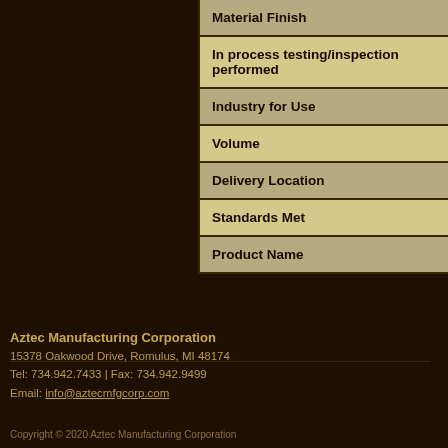| Material Finish |
| In process testing/inspection performed |
| Industry for Use |
| Volume |
| Delivery Location |
| Standards Met |
| Product Name |
Aztec Manufacturing Corporation
15378 Oakwood Drive, Romulus, MI 48174
Tel: 734.942.7433 | Fax: 734.942.9499
Email: info@aztecmfgcorp.com
Copyright © 2020 Aztec Manufacturing Corporation